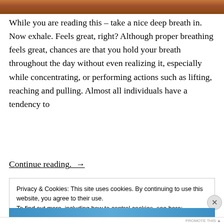[Figure (photo): Partial photo strip at top of page showing warm brown/orange tones, appears to be a food or person image cropped]
While you are reading this – take a nice deep breath in. Now exhale. Feels great, right? Although proper breathing feels great, chances are that you hold your breath throughout the day without even realizing it, especially while concentrating, or performing actions such as lifting, reaching and pulling. Almost all individuals have a tendency to
Continue reading. →
Privacy & Cookies: This site uses cookies. By continuing to use this website, you agree to their use.
To find out more, including how to control cookies, see here:
Cookie Policy
Close and accept